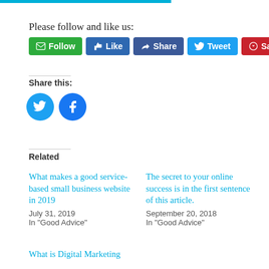Please follow and like us:
Follow | Like | Share | Tweet | Save
Share this:
Related
What makes a good service-based small business website in 2019
July 31, 2019
In "Good Advice"
The secret to your online success is in the first sentence of this article.
September 20, 2018
In "Good Advice"
What is Digital Marketing